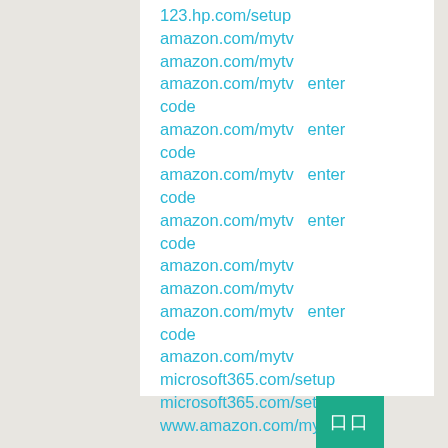123.hp.com/setup
amazon.com/mytv
amazon.com/mytv
amazon.com/mytv   enter code
amazon.com/mytv   enter code
amazon.com/mytv   enter code
amazon.com/mytv   enter code
amazon.com/mytv
amazon.com/mytv
amazon.com/mytv   enter code
amazon.com/mytv
microsoft365.com/setup
microsoft365.com/setup
www.amazon.com/mytv